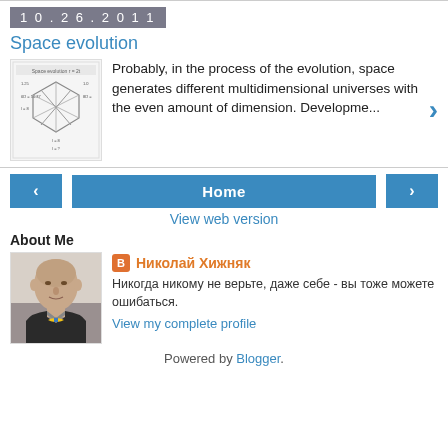10.26.2011
Space evolution
[Figure (other): Thumbnail image of a mathematical/physics diagram showing space evolution with geometric shapes and equations]
Probably, in the process of the evolution, space generates different multidimensional universes with the even amount of dimension. Developme...
< Home >
View web version
About Me
[Figure (photo): Portrait photo of a bald middle-aged man wearing a dark jacket with a blue and yellow pin or bow tie]
Николай Хижняк
Никогда никому не верьте, даже себе - вы тоже можете ошибаться.
View my complete profile
Powered by Blogger.